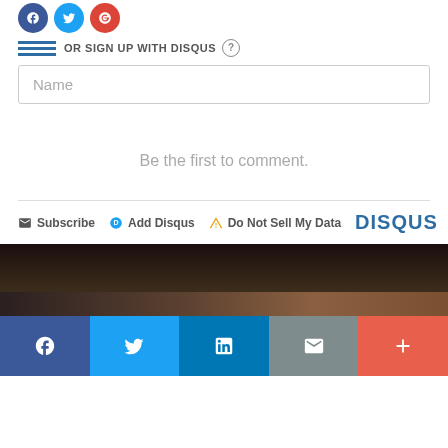[Figure (screenshot): Social login icons: Twitter, Facebook, Twitter, Google circles at top]
OR SIGN UP WITH DISQUS ?
Name
Be the first to comment.
Subscribe  Add Disqus  Do Not Sell My Data  DISQUS
[Figure (photo): Dark background photo strip]
[Figure (infographic): Social share bar with Facebook, Twitter, LinkedIn, Email, More buttons]